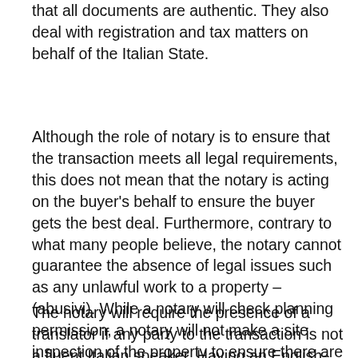that all documents are authentic. They also deal with registration and tax matters on behalf of the Italian State.
Although the role of notary is to ensure that the transaction meets all legal requirements, this does not mean that the notary is acting on the buyer's behalf to ensure the buyer gets the best deal. Furthermore, contrary to what many people believe, the notary cannot guarantee the absence of legal issues such as any unlawful work to a property – (abusivi). While a notary will check planning permission, a notary will not make a site inspection of the property to ensure there are no additional illegal work.
The notary will require the presence of a translator if any party to the transaction is not a fluent Italian speaker. Having an English-speaking